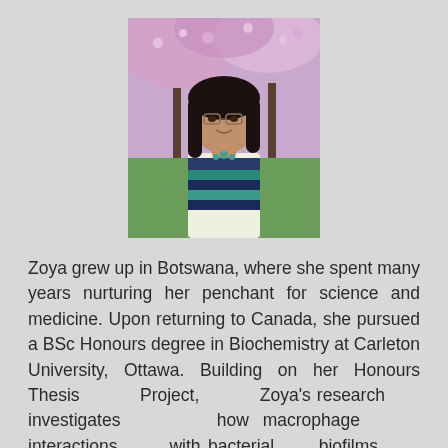[Figure (photo): Portrait photo of Zoya, a young woman with long dark hair and glasses, smiling in front of pink flowering trees outdoors.]
Zoya grew up in Botswana, where she spent many years nurturing her penchant for science and medicine. Upon returning to Canada, she pursued a BSc Honours degree in Biochemistry at Carleton University, Ottawa. Building on her Honours Thesis Project, Zoya's research investigates how macrophage interactions with bacterial biofilms alters cellular metabolism. Using microbiological and to macrophage decreased